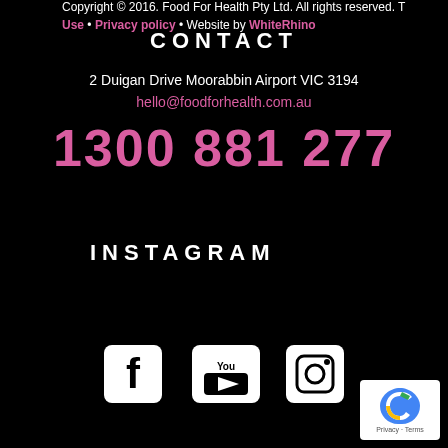CONTACT
2 Duigan Drive Moorabbin Airport VIC 3194
hello@foodforhealth.com.au
1300 881 277
INSTAGRAM
[Figure (infographic): Social media icons: Facebook, YouTube, Instagram]
Copyright © 2016. Food For Health Pty Ltd. All rights reserved. T
Use • Privacy policy • Website by WhiteRhino